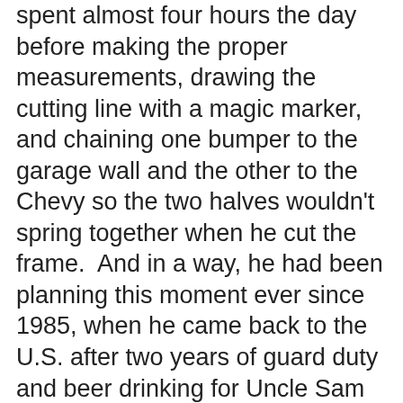spent almost four hours the day before making the proper measurements, drawing the cutting line with a magic marker, and chaining one bumper to the garage wall and the other to the Chevy so the two halves wouldn't spring together when he cut the frame.  And in a way, he had been planning this moment ever since 1985, when he came back to the U.S. after two years of guard duty and beer drinking for Uncle Sam in Germany.  To celebrate their release from the service, he and his buddy Spence had rented a limousine for an hour and cruised around Virginia Beach, drinking Scotch from the limo's bar and looking at girls through the tinted glass.  Spence was talking away about his plans: he was going to catch the next bus to Albany, marry his girl, and go to work in her father's office supply store.  Larry hadn't given much thought to his future, so when Spence asked him what he was going to do when he got back to Minnesota, he said the first thing that came to his mind: "I'm gonna get me one of these limousines."